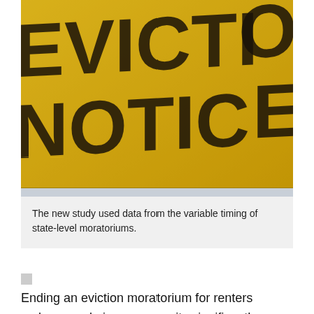[Figure (photo): Close-up photograph of a yellow eviction notice sign with bold black letters reading 'EVICTION NOTICE']
The new study used data from the variable timing of state-level moratoriums.
Ending an eviction moratorium for renters makes people in a community significantly more likely to contract Covid-19, according to a new study co-authored by MIT researchers.